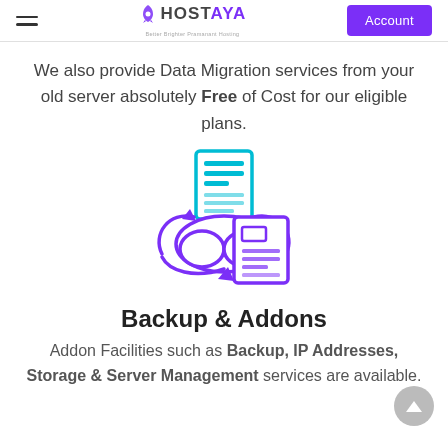HOSTAYA — Account
We also provide Data Migration services from your old server absolutely Free of Cost for our eligible plans.
[Figure (illustration): Cloud data migration icon: two document/server icons connected via a cloud with refresh arrows, colored in cyan/blue and purple gradient]
Backup & Addons
Addon Facilities such as Backup, IP Addresses, Storage & Server Management services are available.